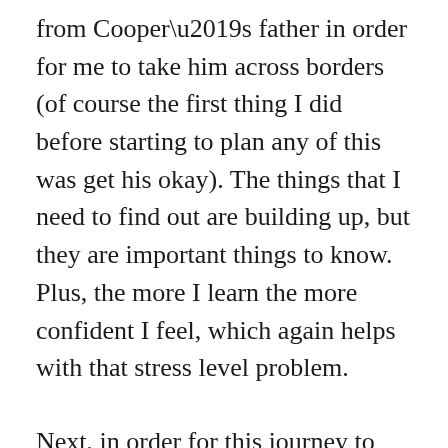from Cooper’s father in order for me to take him across borders (of course the first thing I did before starting to plan any of this was get his okay). The things that I need to find out are building up, but they are important things to know. Plus, the more I learn the more confident I feel, which again helps with that stress level problem.

Next, in order for this journey to happen I need to put an end to my present career. As you may or may not know, I currently run a home daycare. I have had Stepping Stones for 6 years now and developed amazing relationships with some